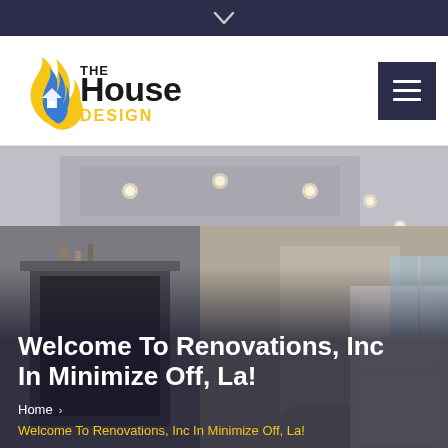[Figure (logo): The House Design logo with flame/house icon and bold text]
Welcome To Renovations, Inc In Minimize Off, La!
Home > Welcome To Renovations, Inc In Minimize Off, La!